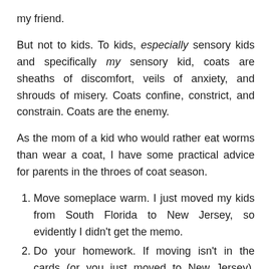my friend.
But not to kids. To kids, especially sensory kids and specifically my sensory kid, coats are sheaths of discomfort, veils of anxiety, and shrouds of misery. Coats confine, constrict, and constrain. Coats are the enemy.
As the mom of a kid who would rather eat worms than wear a coat, I have some practical advice for parents in the throes of coat season.
Move someplace warm. I just moved my kids from South Florida to New Jersey, so evidently I didn't get the memo.
Do your homework. If moving isn't in the cards (or you just moved to New Jersey), begin your coat research in mid July. You'll need plenty of time to find one with no